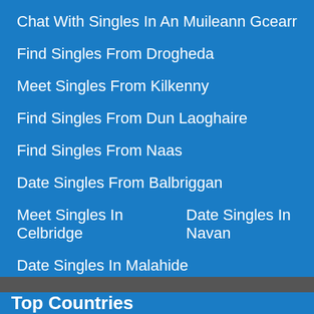Chat With Singles In An Muileann Gcearr
Find Singles From Drogheda
Meet Singles From Kilkenny
Find Singles From Dun Laoghaire
Find Singles From Naas
Date Singles From Balbriggan
Meet Singles In Celbridge
Date Singles In Navan
Date Singles In Malahide
Find Singles In Loch Garman
Top Countries